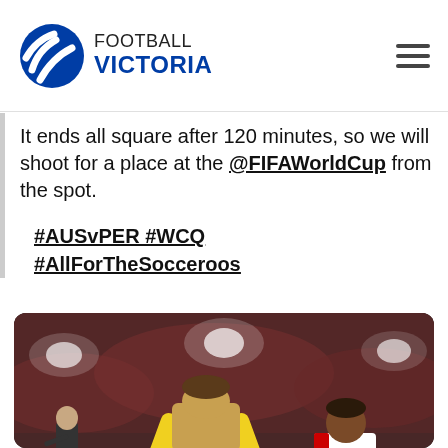Football Victoria
It ends all square after 120 minutes, so we will shoot for a place at the @FIFAWorldCup from the spot.

#AUSvPER #WCQ #AllForTheSocceroos
[Figure (photo): Australian Socceroos player wearing yellow jersey with number 10 covering his face with his hands in disappointment, with a Peruvian player in red and white jersey number 20 nearby, and a referee in the background, during a World Cup Qualifier match.]